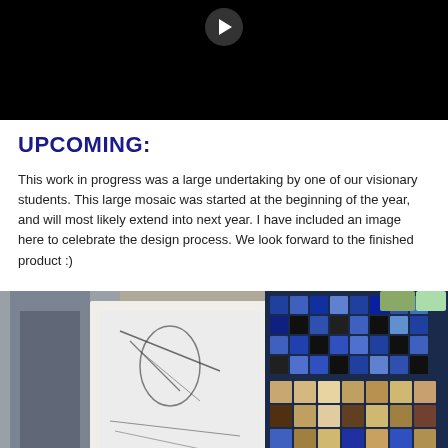[Figure (photo): Video thumbnail showing a dark/black background with a circular play button at the top center]
UPCOMING:
This work in progress was a large undertaking by one of our visionary students. This large mosaic was started at the beginning of the year, and will most likely extend into next year. I have included an image here to celebrate the design process. We look forward to the finished product :)
[Figure (photo): Photo of a mosaic art project in progress: sketches and design drawings on the left, and blue/brown/white mosaic tile work visible on the right side]